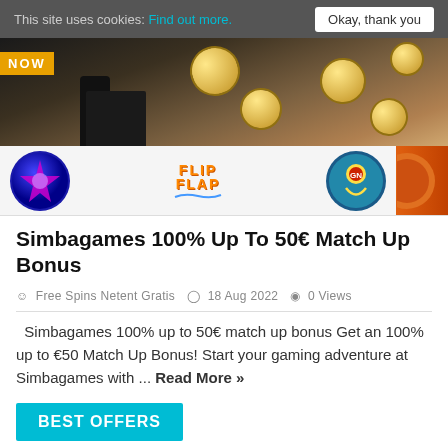This site uses cookies: Find out more.  Okay, thank you
[Figure (photo): Casino promotional banner showing coins tossed in the air with dark background and a NOW label in orange]
[Figure (photo): Row of casino game icons including a star/gem slot icon, Flip Flap game logo, Guns N Roses slot logo, and another orange game icon]
Simbagames 100% Up To 50€ Match Up Bonus
Free Spins Netent Gratis  18 Aug 2022  0 Views
Simbagames 100% up to 50€ match up bonus Get an 100% up to €50 Match Up Bonus! Start your gaming adventure at Simbagames with ... Read More »
BEST OFFERS